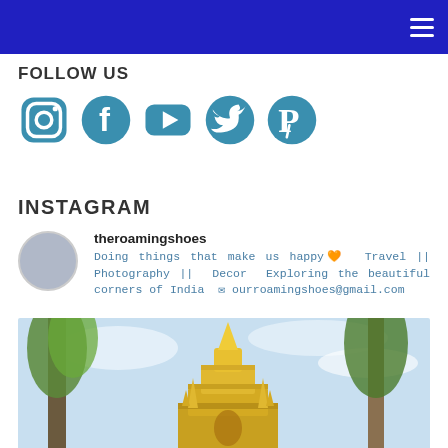Navigation header with hamburger menu
FOLLOW US
[Figure (illustration): Social media icons: Instagram, Facebook, YouTube, Twitter, Pinterest in teal/blue color]
INSTAGRAM
theroamingshoes
Doing things that make us happy❤ Travel || Photography || Decor Exploring the beautiful corners of India ✉ ourroamingshoes@gmail.com
[Figure (photo): Photo of a golden Thai temple/shrine surrounded by trees with a light blue sky background]